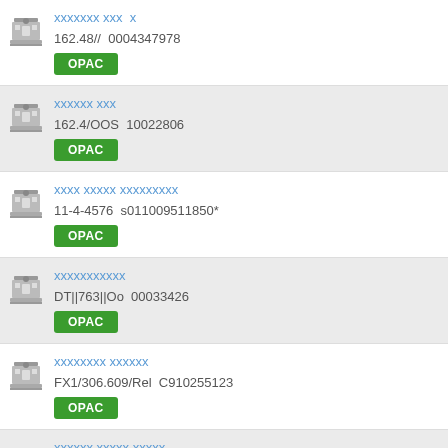xxxxxxx xxx x
162.48//  0004347978
OPAC
xxxxxx xxx
162.4/OOS  10022806
OPAC
xxxx xxxxx xxxxxxxxx
11-4-4576  s011009511850*
OPAC
xxxxxxxxxxx
DT||763||Oo  00033426
OPAC
xxxxxxxx xxxxxx
FX1/306.609/Rel  C910255123
OPAC
xxxxxx xxxxx xxxxx
361.5||O69  2:97162074
OPAC